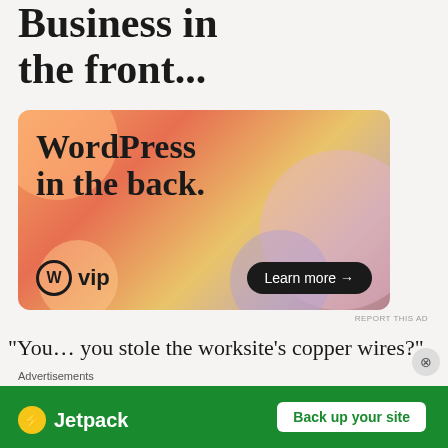Business in the front...
[Figure (illustration): WordPress VIP advertisement banner with colorful blob shapes. Large text reads 'WordPress in the back.' with WordPress VIP logo and 'Learn more' button.]
“You… you stole the worksite’s copper wires?”
“He’s the one who tried to take advantage of me first,” laughed Chu Tian. “Copper wires were worth
[Figure (illustration): Jetpack advertisement bar with green background, Jetpack logo, and 'Back up your site' button. 'Advertisements' label above.]